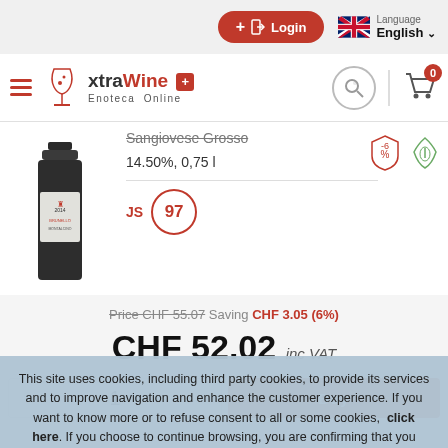Login  Language English
[Figure (logo): xtraWine Enoteca Online logo with Swiss cross badge]
Sangiovese Grosso
14.50%, 0,75 l
JS 97
Price CHF 55.07  Saving CHF 3.05 (6%)
CHF 52.02 inc VAT
This site uses cookies, including third party cookies, to provide its services and to improve navigation and enhance the customer experience. If you want to know more or to refuse consent to all or some cookies, click here. If you choose to continue browsing, you are confirming that you accept the use of cookies. Ok